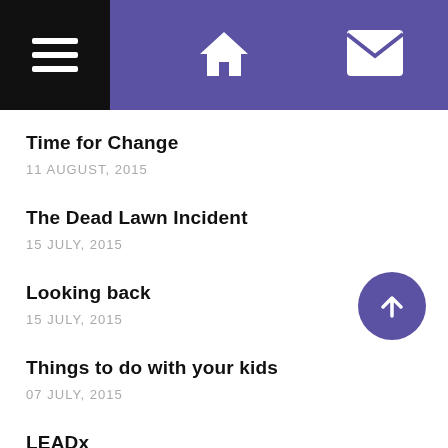Navigation header with hamburger menu, home icon, and mail icon
Time for Change
11 AUGUST, 2015
The Dead Lawn Incident
15 JULY, 2015
Looking back
15 JULY, 2015
Things to do with your kids
07 JULY, 2015
LEADx